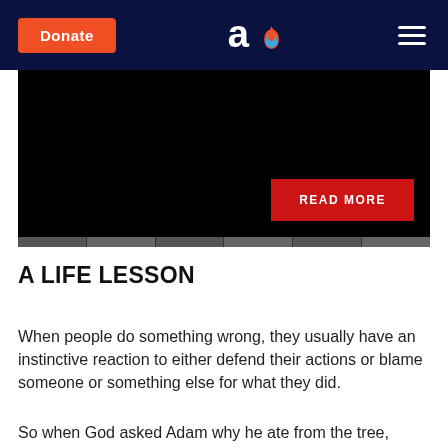Donate | [logo] | [menu]
[Figure (screenshot): Black hero image area with a red READ MORE button in the bottom-right corner]
A LIFE LESSON
When people do something wrong, they usually have an instinctive reaction to either defend their actions or blame someone or something else for what they did.
So when God asked Adam why he ate from the tree,